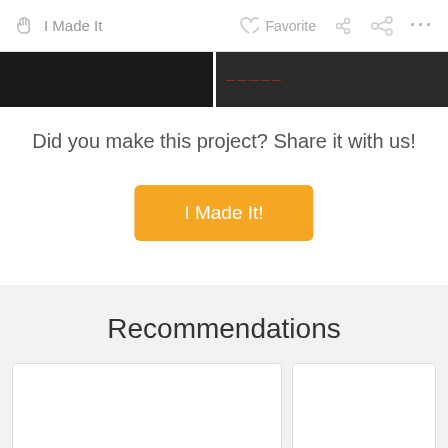I Made It   Favorite   ...
[Figure (screenshot): Two dark image thumbnails side by side]
Did you make this project? Share it with us!
[Figure (other): Orange button labeled 'I Made It!']
Recommendations
[Figure (other): Two white card placeholders for recommendations]